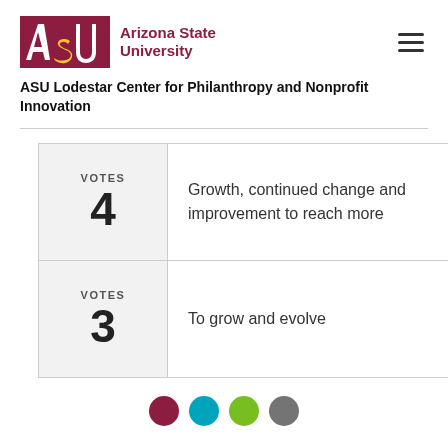ASU Arizona State University
ASU Lodestar Center for Philanthropy and Nonprofit Innovation
| Votes | Response |
| --- | --- |
| VOTES 4 | Growth, continued change and improvement to reach more |
| VOTES 3 | To grow and evolve |